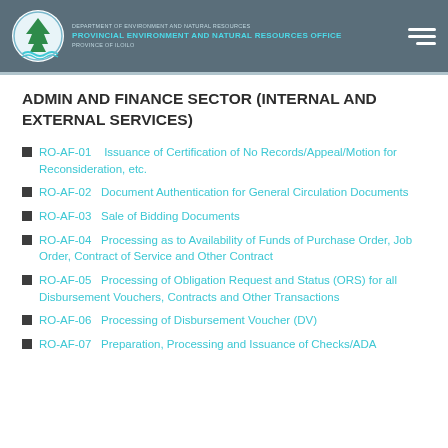Department of Environment and Natural Resources – Provincial Environment and Natural Resources Office – Province of Iloilo
ADMIN AND FINANCE SECTOR (INTERNAL AND EXTERNAL SERVICES)
RO-AF-01    Issuance of Certification of No Records/Appeal/Motion for Reconsideration, etc.
RO-AF-02    Document Authentication for General Circulation Documents
RO-AF-03    Sale of Bidding Documents
RO-AF-04    Processing as to Availability of Funds of Purchase Order, Job Order, Contract of Service and Other Contract
RO-AF-05    Processing of Obligation Request and Status (ORS) for all Disbursement Vouchers, Contracts and Other Transactions
RO-AF-06    Processing of Disbursement Voucher (DV)
RO-AF-07    Preparation, Processing and Issuance of Checks/ADA